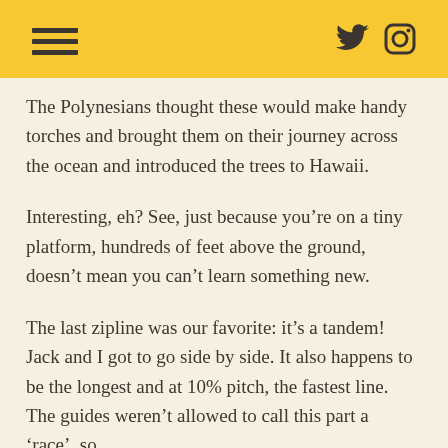The Polynesians thought these would make handy torches and brought them on their journey across the ocean and introduced the trees to Hawaii.
Interesting, eh? See, just because you’re on a tiny platform, hundreds of feet above the ground, doesn’t mean you can’t learn something new.
The last zipline was our favorite: it’s a tandem! Jack and I got to go side by side. It also happens to be the longest and at 10% pitch, the fastest line. The guides weren’t allowed to call this part a ‘race’, so